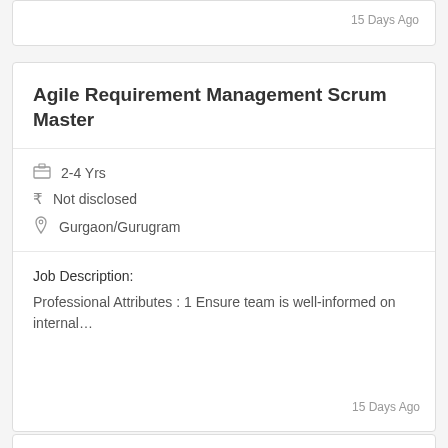15 Days Ago
Agile Requirement Management Scrum Master
2-4 Yrs
₹ Not disclosed
Gurgaon/Gurugram
Job Description:
Professional Attributes : 1 Ensure team is well-informed on internal…
15 Days Ago
Program and Project Management